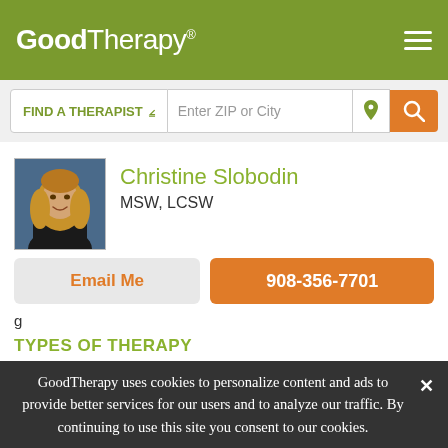GoodTherapy®
FIND A THERAPIST  Enter ZIP or City
[Figure (photo): Profile photo of Christine Slobodin, a woman with long blonde hair wearing a dark top]
Christine Slobodin
MSW, LCSW
Email Me
908-356-7701
TYPES OF THERAPY
Interpersonal Psychotherapy (IPT)
Positive Psychotherapy
Psychoanalysis / Modern Psychoanalysis
GoodTherapy uses cookies to personalize content and ads to provide better services for our users and to analyze our traffic. By continuing to use this site you consent to our cookies.